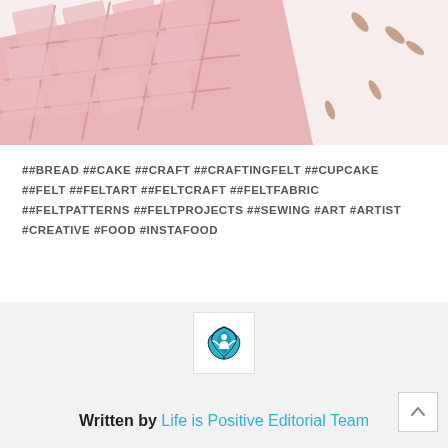[Figure (photo): Top-down photo of pink felt pieces arranged like a chocolate bar grid on a white surface, with small almond-shaped pieces scattered around]
##BREAD ##CAKE ##CRAFT ##CRAFTINGFELT ##CUPCAKE ##FELT ##FELTART ##FELTCRAFT ##FELTFABRIC ##FELTPATTERNS ##FELTPROJECTS ##SEWING #ART #ARTIST #CREATIVE #FOOD #INSTAFOOD
[Figure (logo): Life is Positive logo: a stylized lotus/leaf shape with a human figure inside, in teal/cyan blue and dark outline, on white square background]
Written by Life is Positive Editorial Team